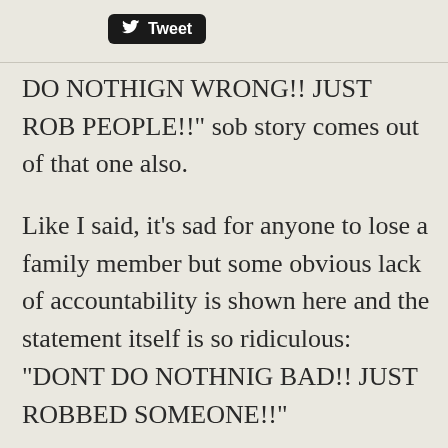[Figure (logo): Twitter Tweet button with bird icon on black rounded rectangle background]
DO NOTHIGN WRONG!! JUST ROB PEOPLE!!" sob story comes out of that one also.
Like I said, it's sad for anyone to lose a family member but some obvious lack of accountability is shown here and the statement itself is so ridiculous: "DONT DO NOTHNIG BAD!! JUST ROBBED SOMEONE!!"